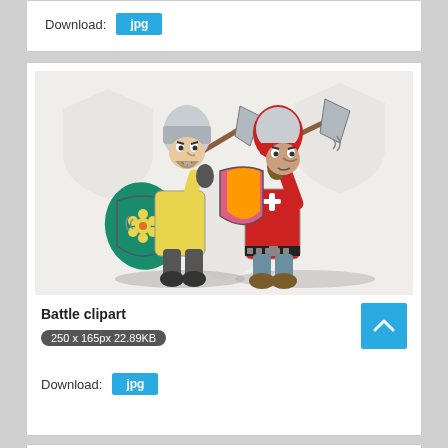Download:
[Figure (illustration): Two cartoon medieval knights facing each other in battle, one wearing yellow and teal armor with a teal shield decorated with a flower, the other in red armor holding a battle axe, both with helmets and axes raised. Watermark shield shapes visible in background.]
Battle clipart
250 x 165px 22.89KB
Download: